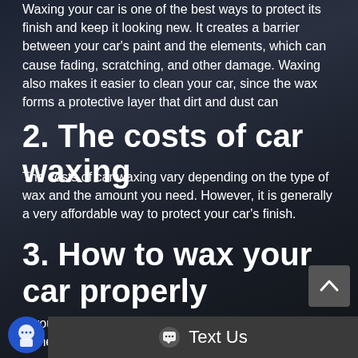Waxing your car is one of the best ways to protect its finish and keep it looking new. It creates a barrier between your car's paint and the elements, which can cause fading, scratching, and other damage. Waxing also makes it easier to clean your car, since the wax forms a protective layer that dirt and dust can
2. The costs of car waxing
The costs of car waxing vary depending on the type of wax and the amount you need. However, it is generally a very affordable way to protect your car's finish.
3. How to wax your car properly
If you're looking to get the most out of your car wax,
w these steps: